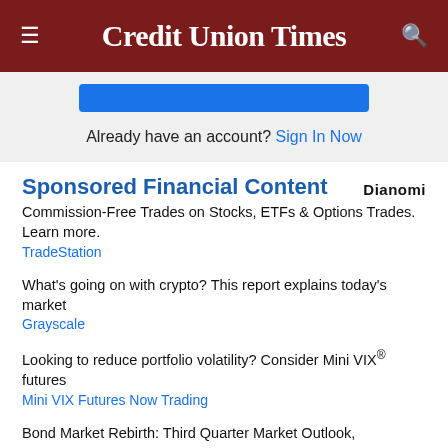Credit Union Times
[Figure (other): Blue subscribe/sign-up button area]
Already have an account? Sign In Now
Sponsored Financial Content
Commission-Free Trades on Stocks, ETFs & Options Trades. Learn more.
TradeStation
What's going on with crypto? This report explains today's market
Grayscale
Looking to reduce portfolio volatility? Consider Mini VIX® futures
Mini VIX Futures Now Trading
Bond Market Rebirth: Third Quarter Market Outlook,